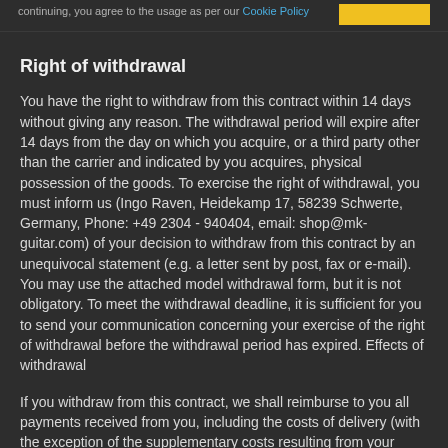continuing, you agree to the usage as per our Cookie Policy
Right of withdrawal
You have the right to withdraw from this contract within 14 days without giving any reason. The withdrawal period will expire after 14 days from the day on which you acquire, or a third party other than the carrier and indicated by you acquires, physical possession of the goods. To exercise the right of withdrawal, you must inform us (Ingo Raven, Heidekamp 17, 58239 Schwerte, Germany, Phone: +49 2304 - 940404, email: shop@mk-guitar.com) of your decision to withdraw from this contract by an unequivocal statement (e.g. a letter sent by post, fax or e-mail). You may use the attached model withdrawal form, but it is not obligatory. To meet the withdrawal deadline, it is sufficient for you to send your communication concerning your exercise of the right of withdrawal before the withdrawal period has expired. Effects of withdrawal
If you withdraw from this contract, we shall reimburse to you all payments received from you, including the costs of delivery (with the exception of the supplementary costs resulting from your choice of a type of delivery other than the least expensive type of